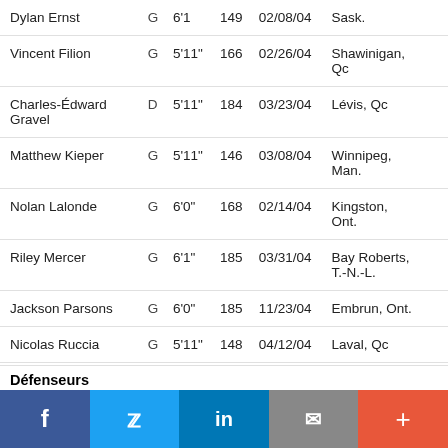| Name | Pos | Ht | Wt | DOB | City |  |
| --- | --- | --- | --- | --- | --- | --- |
| Dylan Ernst | G | 6'1 | 149 | 02/08/04 | Sask. |  |
| Vincent Filion | G | 5'11" | 166 | 02/26/04 | Shawinigan, Qc |  |
| Charles-Édward Gravel | D | 5'11" | 184 | 03/23/04 | Lévis, Qc |  |
| Matthew Kieper | G | 5'11" | 146 | 03/08/04 | Winnipeg, Man. |  |
| Nolan Lalonde | G | 6'0" | 168 | 02/14/04 | Kingston, Ont. |  |
| Riley Mercer | G | 6'1" | 185 | 03/31/04 | Bay Roberts, T.-N.-L. |  |
| Jackson Parsons | G | 6'0" | 185 | 11/23/04 | Embrun, Ont. |  |
| Nicolas Ruccia | G | 5'11" | 148 | 04/12/04 | Laval, Qc |  |
Défenseurs
f  Twitter  in  mail  +